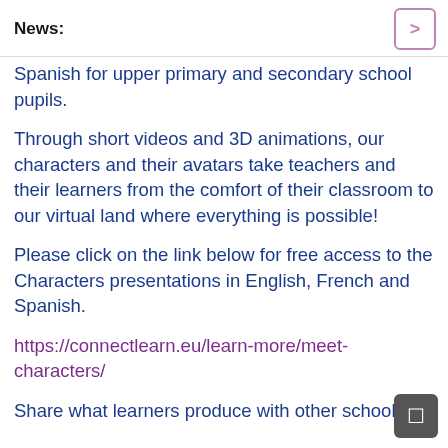News:
Spanish for upper primary and secondary school pupils.
Through short videos and 3D animations, our characters and their avatars take teachers and their learners from the comfort of their classroom to our virtual land where everything is possible!
Please click on the link below for free access to the Characters presentations in English, French and Spanish.
https://connectlearn.eu/learn-more/meet-characters/
Share what learners produce with other schools